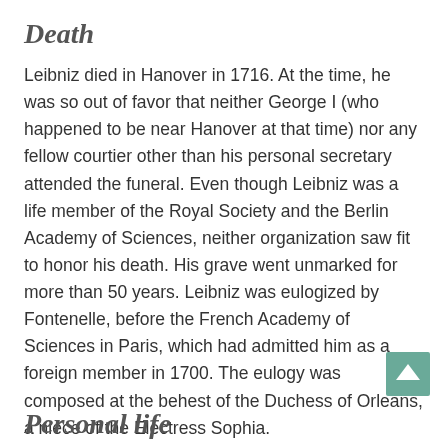Death
Leibniz died in Hanover in 1716. At the time, he was so out of favor that neither George I (who happened to be near Hanover at that time) nor any fellow courtier other than his personal secretary attended the funeral. Even though Leibniz was a life member of the Royal Society and the Berlin Academy of Sciences, neither organization saw fit to honor his death. His grave went unmarked for more than 50 years. Leibniz was eulogized by Fontenelle, before the French Academy of Sciences in Paris, which had admitted him as a foreign member in 1700. The eulogy was composed at the behest of the Duchess of Orleans, a niece of the Electress Sophia.
Personal life